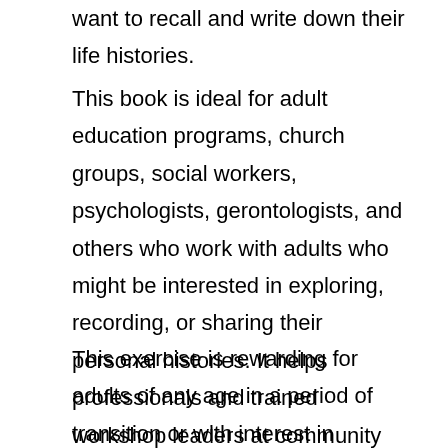want to recall and write down their life histories.
This book is ideal for adult education programs, church groups, social workers, psychologists, gerontologists, and others who work with adults who might be interested in exploring, recording, or sharing their personal histories. It helps professionals and trained workshop leaders at community centers, senior centers, schools and other settings guide group participants in exploring major themes of their lives so that they can organize and write their stories and share them in a group with others on the same journey.
This exercise is rewarding for adults of any age in a period of transition or with interest in gaining insight from their own stories. Personal development and a feeling of connection to other participants and their stories is a natural outcome of this process.